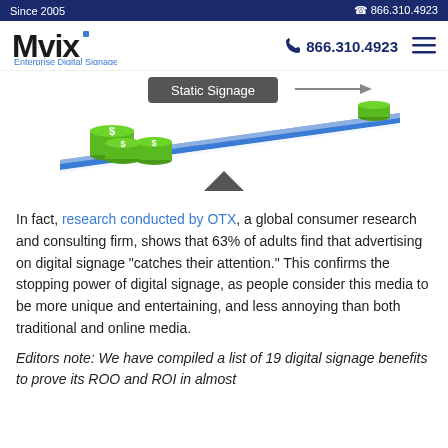Since 2005 | 866.310.4923
[Figure (illustration): A balance scale (seesaw) illustration showing stacks of green dollar coins on the left side (heavier, tilted down) and a single small stack on the right side. A label 'Static Signage' appears near the top center. The scale pivot is a dark triangle in the center.]
In fact, research conducted by OTX, a global consumer research and consulting firm, shows that 63% of adults find that advertising on digital signage “catches their attention.” This confirms the stopping power of digital signage, as people consider this media to be more unique and entertaining, and less annoying than both traditional and online media.
Editors note: We have compiled a list of 19 digital signage benefits to prove its ROO and ROI in almost